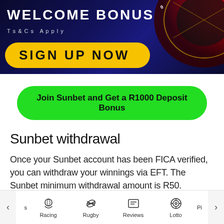[Figure (illustration): Casino welcome bonus banner with dark blue background, roulette wheel on right, yellow pill button saying SIGN UP NOW, text WELCOME BONUS and Ts & Cs Apply]
Join Sunbet and Get a R1000 Deposit Bonus
Sunbet withdrawal
Once your Sunbet account has been FICA verified, you can withdraw your winnings via EFT. The Sunbet minimum withdrawal amount is R50.
s   Racing   Rugby   Reviews   Lotto   Pi